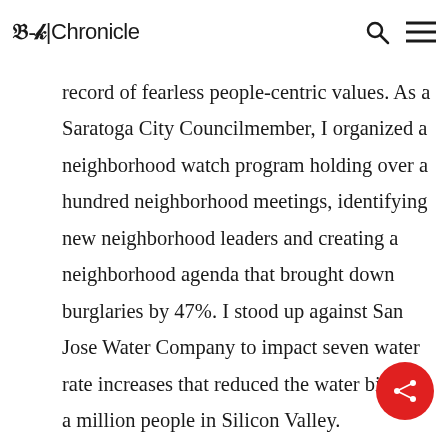M-A | Chronicle
record of fearless people-centric values. As a Saratoga City Councilmember, I organized a neighborhood watch program holding over a hundred neighborhood meetings, identifying new neighborhood leaders and creating a neighborhood agenda that brought down burglaries by 47%. I stood up against San Jose Water Company to impact seven water rate increases that reduced the water bill for a million people in Silicon Valley.